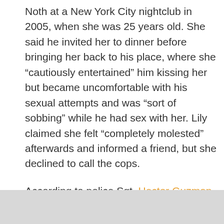Noth at a New York City nightclub in 2005, when she was 25 years old. She said he invited her to dinner before bringing her back to his place, where she “cautiously entertained” him kissing her but became uncomfortable with his sexual attempts and was “sort of sobbing” while he had sex with her. Lily claimed she felt “completely molested” afterwards and informed a friend, but she declined to call the cops.
According to police Sgt. Hector Guzman, the Los Angeles Police Department investigated if there was an active investigation regarding Noth and discovered none. According to sheriff’s Capt. Richard Ruiz, the Los Angeles Sheriff’s Department’s special victims department likewise has no outstanding